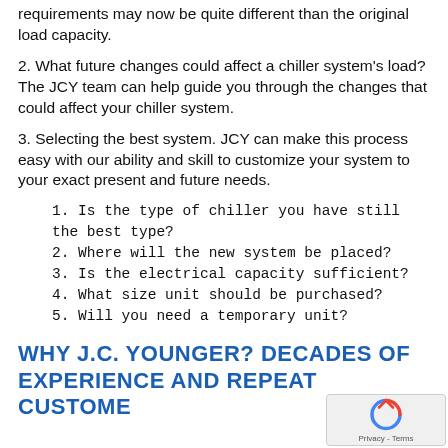requirements may now be quite different than the original load capacity.
2. What future changes could affect a chiller system's load? The JCY team can help guide you through the changes that could affect your chiller system.
3. Selecting the best system. JCY can make this process easy with our ability and skill to customize your system to your exact present and future needs.
1. Is the type of chiller you have still the best type?
2. Where will the new system be placed?
3. Is the electrical capacity sufficient?
4. What size unit should be purchased?
5. Will you need a temporary unit?
WHY J.C. YOUNGER? DECADES OF EXPERIENCE AND REPEAT CUSTOME…